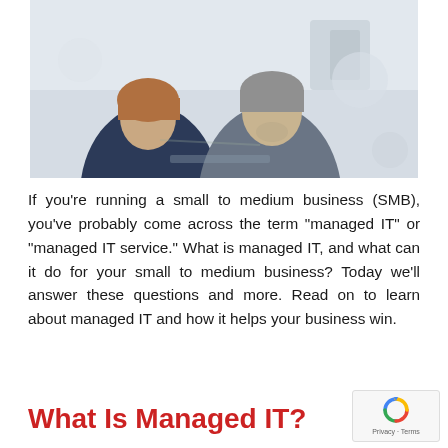[Figure (photo): Two business professionals, a woman and a man, looking down at something together, likely a laptop or tablet, in an office-like setting.]
If you’re running a small to medium business (SMB), you’ve probably come across the term “managed IT” or “managed IT service.” What is managed IT, and what can it do for your small to medium business? Today we’ll answer these questions and more. Read on to learn about managed IT and how it helps your business win.
What Is Managed IT?
[Figure (logo): reCAPTCHA badge with Privacy and Terms links]